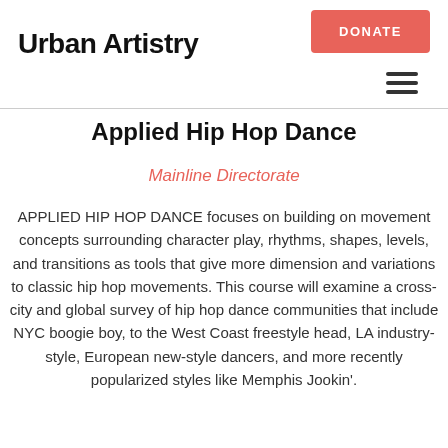Urban Artistry
Applied Hip Hop Dance
Mainline Directorate
APPLIED HIP HOP DANCE focuses on building on movement concepts surrounding character play, rhythms, shapes, levels, and transitions as tools that give more dimension and variations to classic hip hop movements. This course will examine a cross-city and global survey of hip hop dance communities that include NYC boogie boy, to the West Coast freestyle head, LA industry-style, European new-style dancers, and more recently popularized styles like Memphis Jookin'.